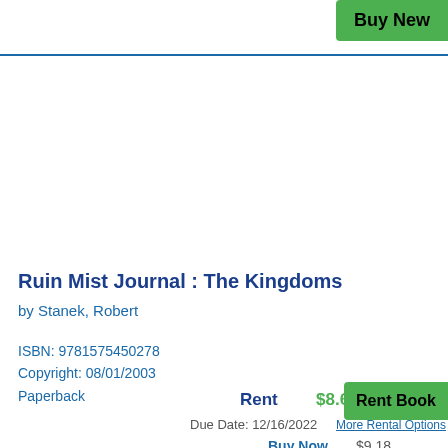Buy New
Ruin Mist Journal : The Kingdoms
by Stanek, Robert
ISBN: 9781575450278
Copyright: 08/01/2003
Paperback
Rent   $8.64
Rent Book
Due Date: 12/16/2022
More Rental Options
Buy Now   $9.18